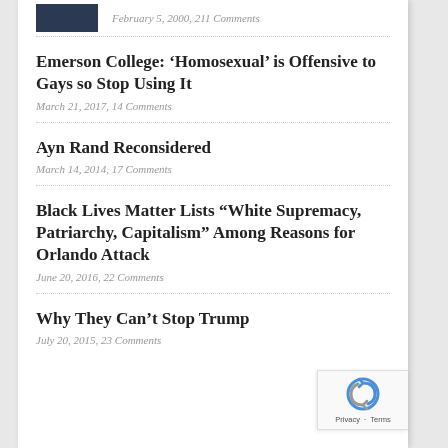February 5, 2000, 211 Comments
Emerson College: ‘Homosexual’ is Offensive to Gays so Stop Using It
March 21, 2017, 14 Comments
Ayn Rand Reconsidered
March 14, 2014, 17 Comments
Black Lives Matter Lists “White Supremacy, Patriarchy, Capitalism” Among Reasons for Orlando Attack
June 20, 2016, 22 Comments
Why They Can’t Stop Trump
July 20, 2015, 23 Comments